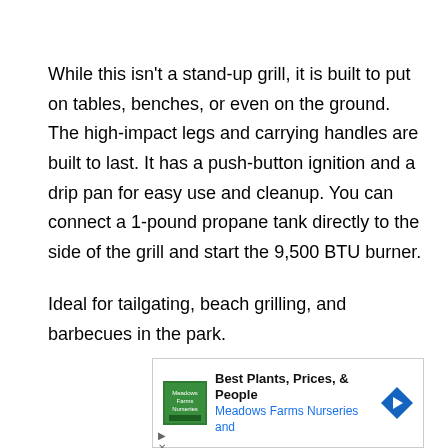While this isn't a stand-up grill, it is built to put on tables, benches, or even on the ground. The high-impact legs and carrying handles are built to last. It has a push-button ignition and a drip pan for easy use and cleanup. You can connect a 1-pound propane tank directly to the side of the grill and start the 9,500 BTU burner.
Ideal for tailgating, beach grilling, and barbecues in the park.
[Figure (other): Advertisement banner for Meadows Farms Nurseries: 'Best Plants, Prices, & People' with logo and navigation arrow icon]